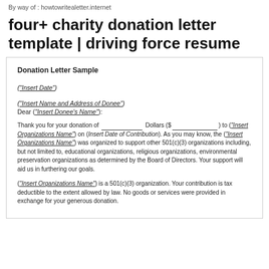By way of : howtowritealetter.internet
four+ charity donation letter template | driving force resume
Donation Letter Sample
("Insert Date")
("Insert Name and Address of Donee")
Dear ("Insert Donee's Name"):
Thank you for your donation of __________ Dollars ($ __________) to ("Insert Organizations Name") on (Insert Date of Contribution). As you may know, the ("Insert Organizations Name") was organized to support other 501(c)(3) organizations including, but not limited to, educational organizations, religious organizations, environmental preservation organizations as determined by the Board of Directors. Your support will aid us in furthering our goals.
("Insert Organizations Name") is a 501(c)(3) organization. Your contribution is tax deductible to the extent allowed by law. No goods or services were provided in exchange for your generous donation.